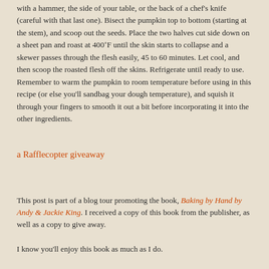with a hammer, the side of your table, or the back of a chef's knife (careful with that last one). Bisect the pumpkin top to bottom (starting at the stem), and scoop out the seeds. Place the two halves cut side down on a sheet pan and roast at 400˚F until the skin starts to collapse and a skewer passes through the flesh easily, 45 to 60 minutes. Let cool, and then scoop the roasted flesh off the skins. Refrigerate until ready to use. Remember to warm the pumpkin to room temperature before using in this recipe (or else you'll sandbag your dough temperature), and squish it through your fingers to smooth it out a bit before incorporating it into the other ingredients.
a Rafflecopter giveaway
This post is part of a blog tour promoting the book, Baking by Hand by Andy & Jackie King. I received a copy of this book from the publisher, as well as a copy to give away.
I know you'll enjoy this book as much as I do.